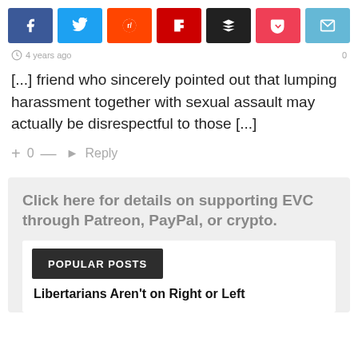[Figure (other): Social share buttons row: Facebook (blue), Twitter (light blue), Reddit (orange-red), Flipboard (dark red), Buffer (dark/black), Pocket (red-pink), Email (cyan)]
4 years ago
[...] friend who sincerely pointed out that lumping harassment together with sexual assault may actually be disrespectful to those [...]
+ 0 — Reply
Click here for details on supporting EVC through Patreon, PayPal, or crypto.
POPULAR POSTS
Libertarians Aren't on Right or Left